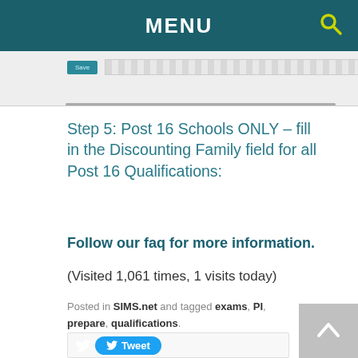MENU
[Figure (screenshot): Screenshot of a software toolbar with Save, Cancel, and Help buttons]
Step 5: Post 16 Schools ONLY – fill in the Discounting Family field for all Post 16 Qualifications:
Follow our faq for more information.
(Visited 1,061 times, 1 visits today)
Posted in SIMS.net and tagged exams, PI, prepare, qualifications.
[Figure (screenshot): Tweet button and social sharing widget area with scroll-to-top button]